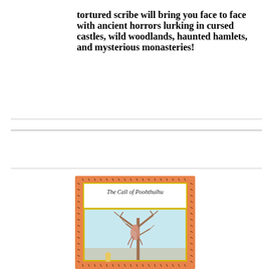tortured scribe will bring you face to face with ancient horrors lurking in cursed castles, wild woodlands, haunted hamlets, and mysterious monasteries!
[Figure (illustration): Book cover of 'The Call of Poohthulhu' with an orange border decorated with small ant-like figures, a yellow inner frame with the title text, and below it an illustration of a bare tree with a creature on it against a light blue background.]